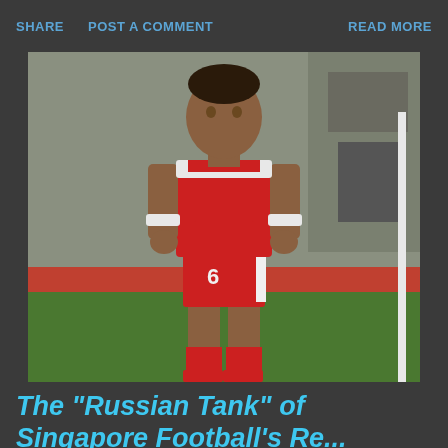SHARE   POST A COMMENT   READ MORE
[Figure (photo): A football player wearing a red jersey with white accents and red shorts with number 6, standing on a green football pitch with a stadium structure visible in the background. The photo appears to be from the 1980s.]
The "Russian Tank" of Singapore Football's Re...